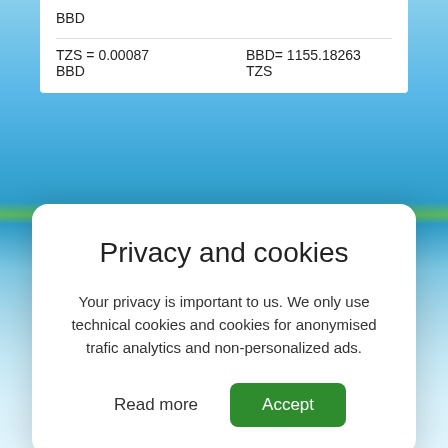BBD
TZS = 0.00087 BBD    BBD= 1155.18263 TZS
Privacy and cookies
Your privacy is important to us. We only use technical cookies and cookies for anonymised trafic analytics and non-personalized ads.
Read more   Accept
UYU = 0.04953 BBD    BBD= 20.19073 UYU
JMD = 0.01342    BBD= 74.53503